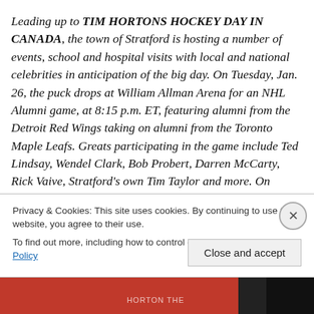Leading up to TIM HORTONS HOCKEY DAY IN CANADA, the town of Stratford is hosting a number of events, school and hospital visits with local and national celebrities in anticipation of the big day. On Tuesday, Jan. 26, the puck drops at William Allman Arena for an NHL Alumni game, at 8:15 p.m. ET, featuring alumni from the Detroit Red Wings taking on alumni from the Toronto Maple Leafs. Greats participating in the game include Ted Lindsay, Wendel Clark, Bob Probert, Darren McCarty, Rick Vaive, Stratford's own Tim Taylor and more. On
Privacy & Cookies: This site uses cookies. By continuing to use this website, you agree to their use.
To find out more, including how to control cookies, see here: Cookie Policy
Close and accept